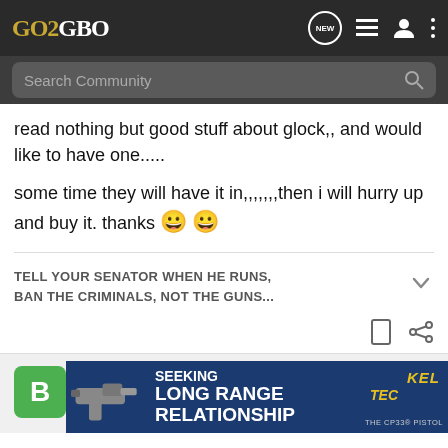GO2GBO
Search Community
read nothing but good stuff about glock,, and would like to have one.....
some time they will have it in,,,,,,,then i will hurry up and buy it. thanks 😀 😀
TELL YOUR SENATOR WHEN HE RUNS, BAN THE CRIMINALS, NOT THE GUNS...
brmr30 · Registered
[Figure (screenshot): KEL-TEC advertisement banner: SEEKING LONG RANGE RELATIONSHIP with CP33 pistol image]